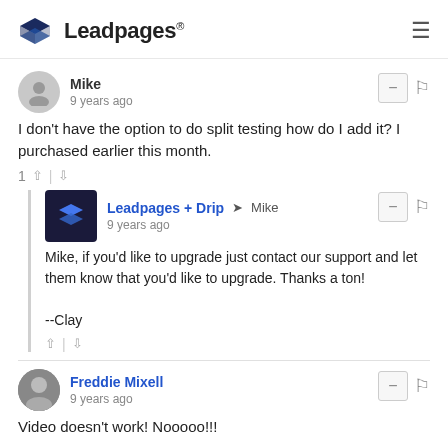Leadpages®
Mike
9 years ago
I don't have the option to do split testing how do I add it? I purchased earlier this month.
Leadpages + Drip → Mike
9 years ago
Mike, if you'd like to upgrade just contact our support and let them know that you'd like to upgrade. Thanks a ton!

--Clay
Freddie Mixell
9 years ago
Video doesn't work! Nooooo!!!